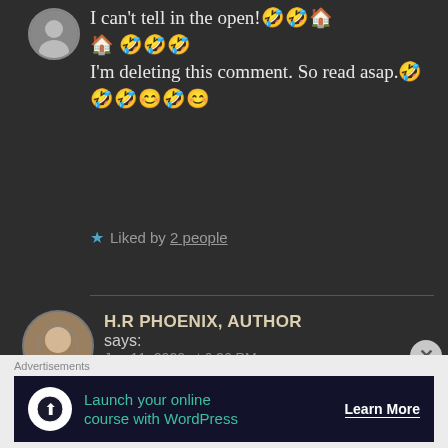I can't tell in the open!🤣🤣🏠🏠 🤣🤣🤣
I'm deleting this comment. So read asap.🤣🤣🤣😊🤣😊
★ Liked by 2 people
H.R PHOENIX, AUTHOR says:
Jun 11, 2020 at 6:36 PM
Okay
Advertisements
Launch your online course with WordPress
Learn More